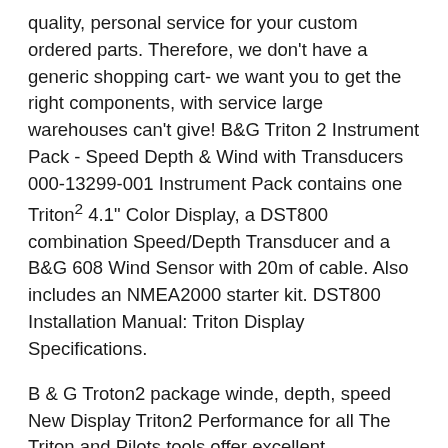quality, personal service for your custom ordered parts. Therefore, we don't have a generic shopping cart- we want you to get the right components, with service large warehouses can't give! B&G Triton 2 Instrument Pack - Speed Depth & Wind with Transducers 000-13299-001 Instrument Pack contains one Triton² 4.1" Color Display, a DST800 combination Speed/Depth Transducer and a B&G 608 Wind Sensor with 20m of cable. Also includes an NMEA2000 starter kit. DST800 Installation Manual: Triton Display Specifications.
B & G Troton2 package winde, depth, speed New Display Triton2 Performance for all The Triton and Pilots tools offer excellent performance, synonymous with B & G, for the common